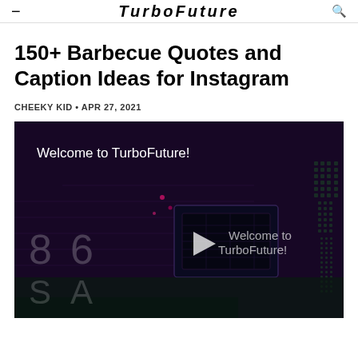TurboFuture
150+ Barbecue Quotes and Caption Ideas for Instagram
CHEEKY KID • APR 27, 2021
[Figure (screenshot): Video thumbnail showing a circuit board background with text 'Welcome to TurboFuture!' at the top and a play button overlay with 'Welcome to TurboFuture!' text in the center. Numbers 8, 6, S, A are visible on the left side.]